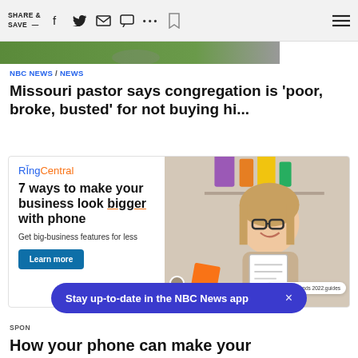SHARE & SAVE —
[Figure (photo): Partial hero image strip showing green grass/outdoor scene]
NBC NEWS / NEWS
Missouri pastor says congregation is 'poor, broke, busted' for not buying hi...
[Figure (infographic): RingCentral advertisement: '7 ways to make your business look bigger with phone. Get big-business features for less. Learn more.' with image of smiling woman with glasses looking at documents.]
Stay up-to-date in the NBC News app
SPON
How your phone can make your